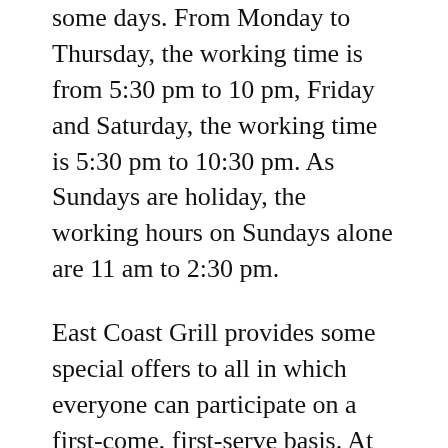some days. From Monday to Thursday, the working time is from 5:30 pm to 10 pm, Friday and Saturday, the working time is 5:30 pm to 10:30 pm. As Sundays are holiday, the working hours on Sundays alone are 11 am to 2:30 pm.
East Coast Grill provides some special offers to all in which everyone can participate on a first-come, first-serve basis. At regular intervals, some special events like disco, dance programs will be conducted in which reservations has to be compulsorily done through a phone call.
Even private parties can be conducted inside the east coast grill by hiring it by consulting with the higher officials of the restaurant. A nominal fee is charged for hiring this special